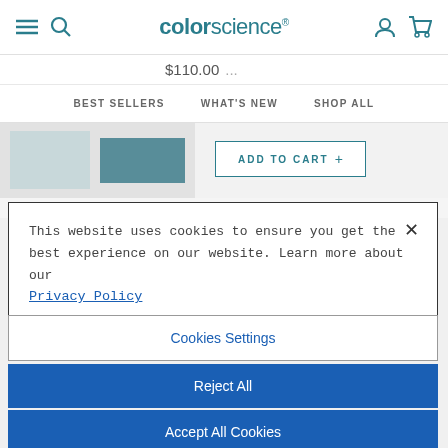[Figure (screenshot): Colorescience website header with hamburger menu, search icon, logo, user icon, and cart icon]
$110.00
BEST SELLERS   WHAT'S NEW   SHOP ALL
[Figure (screenshot): Product image thumbnail and ADD TO CART button]
This website uses cookies to ensure you get the best experience on our website. Learn more about our Privacy Policy
Cookies Settings
Reject All
Accept All Cookies